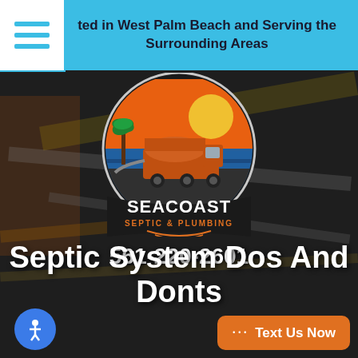Located in West Palm Beach and Serving the Surrounding Areas
[Figure (logo): Seacoast Septic & Plumbing circular logo with a septic truck, palm trees, and sunset background. Text reads SEACOAST SEPTIC & PLUMBING.]
561-220-2601
Septic System Dos And Donts